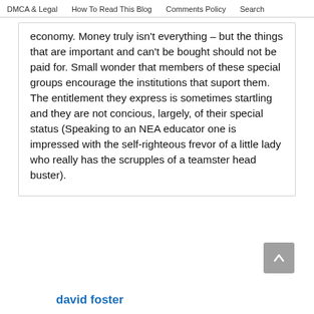DMCA & Legal | How To Read This Blog | Comments Policy | Search
economy. Money truly isn't everything – but the things that are important and can't be bought should not be paid for. Small wonder that members of these special groups encourage the institutions that suport them. The entitlement they express is sometimes startling and they are not concious, largely, of their special status (Speaking to an NEA educator one is impressed with the self-righteous frevor of a little lady who really has the scrupples of a teamster head buster).
david foster